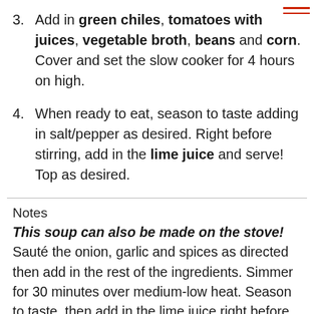3. Add in green chiles, tomatoes with juices, vegetable broth, beans and corn. Cover and set the slow cooker for 4 hours on high.
4. When ready to eat, season to taste adding in salt/pepper as desired. Right before stirring, add in the lime juice and serve! Top as desired.
Notes
This soup can also be made on the stove! Sauté the onion, garlic and spices as directed then add in the rest of the ingredients. Simmer for 30 minutes over medium-low heat. Season to taste, then add in the lime juice right before serving and top as desired. I've really fallen in love with Violife dairy-